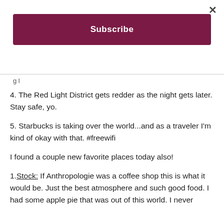×
Subscribe
g l
4. The Red Light District gets redder as the night gets later. Stay safe, yo.
5. Starbucks is taking over the world...and as a traveler I'm kind of okay with that. #freewifi
I found a couple new favorite places today also!
1. Stock: If Anthropologie was a coffee shop this is what it would be. Just the best atmosphere and such good food. I had some apple pie that was out of this world. I never